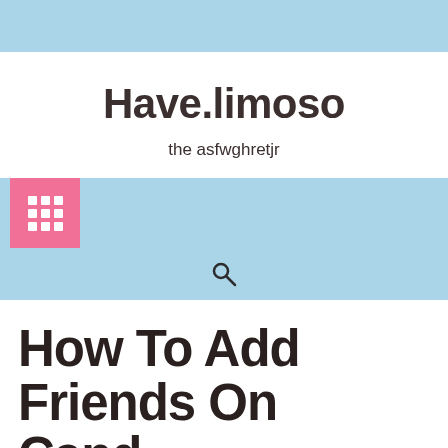Have.limoso
the asfwghretjr
[Figure (infographic): Navigation bar with pink grid/menu icon on light blue background, and a search icon below]
How To Add Friends On Candy Crush Soda